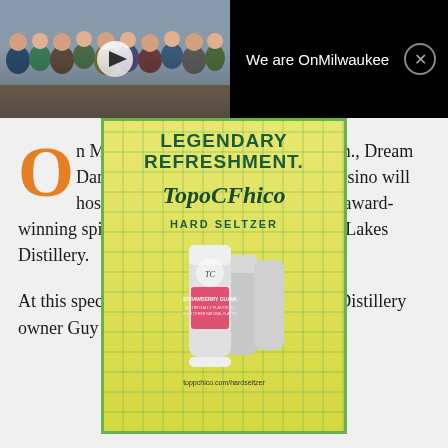[Figure (screenshot): Top black navigation bar of OnMilwaukee website with a video thumbnail of group of people on the left, text 'We are OnMilwaukee' in the center, and a close (X) button on the right]
[Figure (advertisement): Topo Chico Hard Seltzer advertisement with yellow-green checkered background, 'LEGENDARY REFRESHMENT.' headline, Topo Chico logo, 'HARD SELTZER' text, and cans of Strawberry Guava flavor]
On Monday, Feb. 24 beginning at 6 p.m., Dream Dance Steak at Potawatomi Bingo Casino will host an exclusive dinner showcasing award-winning spirits from Milwaukee's own Great Lakes Distillery.
At this special affair, hosted by Great Lakes Distillery owner Guy Rehorst, cocktails crafted